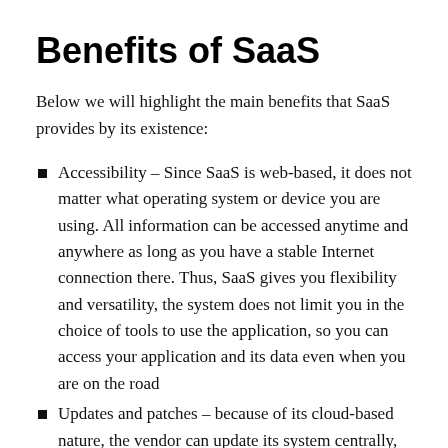Benefits of SaaS
Below we will highlight the main benefits that SaaS provides by its existence:
Accessibility – Since SaaS is web-based, it does not matter what operating system or device you are using. All information can be accessed anytime and anywhere as long as you have a stable Internet connection there. Thus, SaaS gives you flexibility and versatility, the system does not limit you in the choice of tools to use the application, so you can access your application and its data even when you are on the road
Updates and patches – because of its cloud-based nature, the vendor can update its system centrally, without the customers being affected by this update